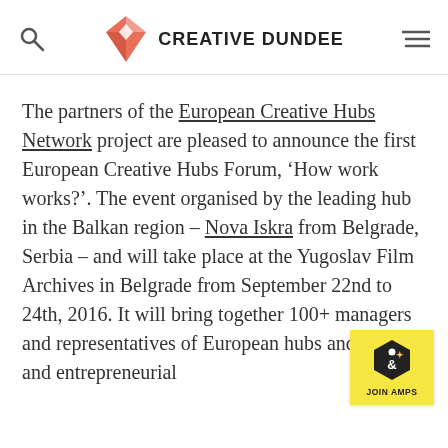CREATIVE DUNDEE
The partners of the European Creative Hubs Network project are pleased to announce the first European Creative Hubs Forum, ‘How work works?’. The event organised by the leading hub in the Balkan region – Nova Iskra from Belgrade, Serbia – and will take place at the Yugoslav Film Archives in Belgrade from September 22nd to 24th, 2016. It will bring together 100+ managers and representatives of European hubs and creative and entrepreneurial